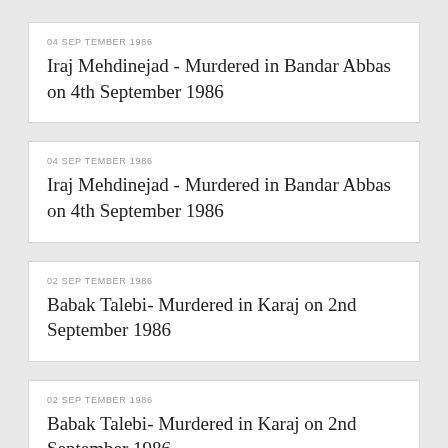04 SEPTEMBER 1986
Iraj Mehdinejad - Murdered in Bandar Abbas on 4th September 1986
04 SEPTEMBER 1986
Iraj Mehdinejad - Murdered in Bandar Abbas on 4th September 1986
02 SEPTEMBER 1986
Babak Talebi- Murdered in Karaj on 2nd September 1986
02 SEPTEMBER 1986
Babak Talebi- Murdered in Karaj on 2nd September 1986